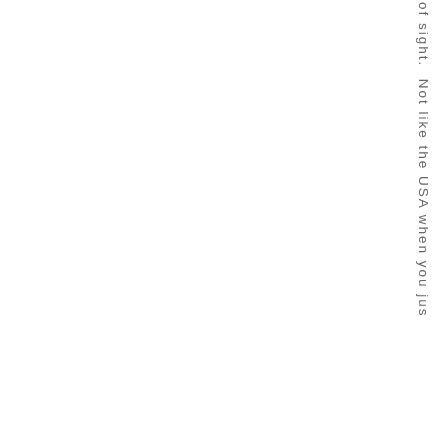of sight. Not like the USA when you jus